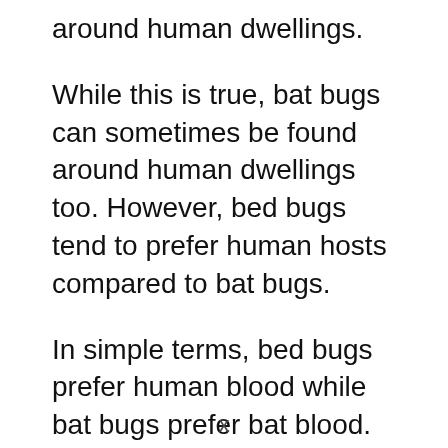around human dwellings.
While this is true, bat bugs can sometimes be found around human dwellings too. However, bed bugs tend to prefer human hosts compared to bat bugs.
In simple terms, bed bugs prefer human blood while bat bugs prefer bat blood. Now, there are cases where bat bugs have been found to bite human hosts.
This is possible and happens when bat bugs are abandoned by their preferred
x